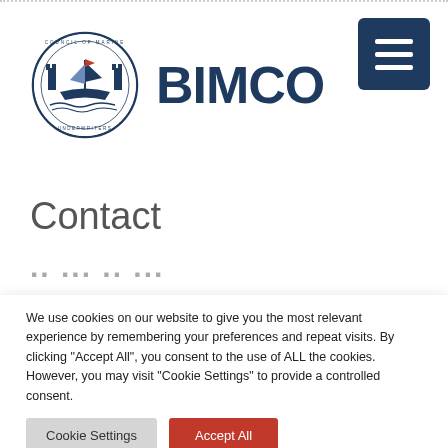[Figure (logo): BIMCO logo with circular maritime seal and text BIMCO]
Contact
We use cookies on our website to give you the most relevant experience by remembering your preferences and repeat visits. By clicking “Accept All”, you consent to the use of ALL the cookies. However, you may visit “Cookie Settings” to provide a controlled consent.